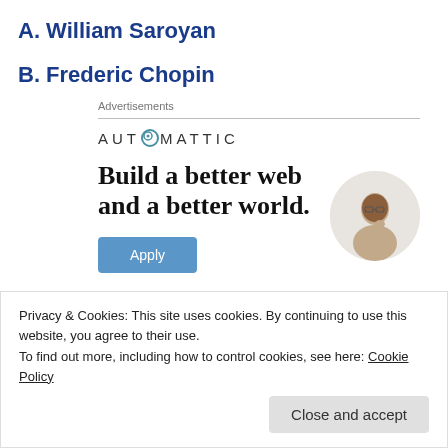A. William Saroyan
B. Frederic Chopin
[Figure (other): Automattic advertisement banner: 'Build a better web and a better world.' with Apply button and photo of a man thinking]
Privacy & Cookies: This site uses cookies. By continuing to use this website, you agree to their use. To find out more, including how to control cookies, see here: Cookie Policy